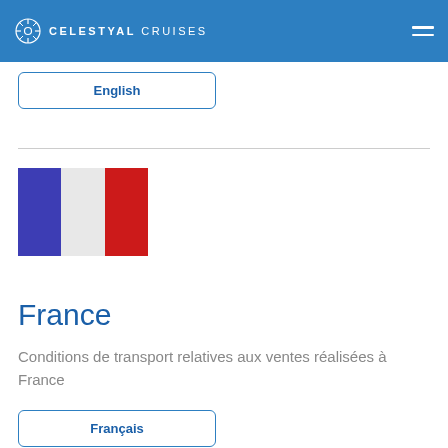CELESTYAL CRUISES
English
[Figure (illustration): French flag with blue, white, and red vertical stripes]
France
Conditions de transport relatives aux ventes réalisées à France
Français